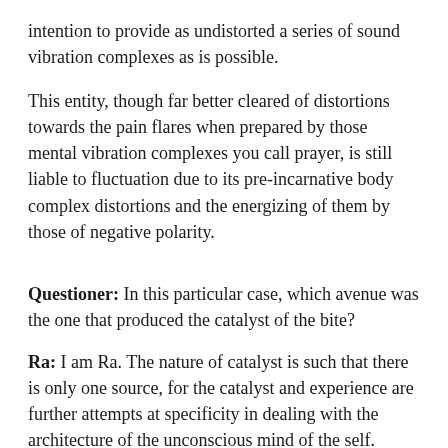intention to provide as undistorted a series of sound vibration complexes as is possible.
This entity, though far better cleared of distortions towards the pain flares when prepared by those mental vibration complexes you call prayer, is still liable to fluctuation due to its pre-incarnative body complex distortions and the energizing of them by those of negative polarity.
Questioner: In this particular case, which avenue was the one that produced the catalyst of the bite?
Ra: I am Ra. The nature of catalyst is such that there is only one source, for the catalyst and experience are further attempts at specificity in dealing with the architecture of the unconscious mind of the self. Therefore, in an incarnational experience the self as Creator, especially the higher self, is the base from which catalyst stands to offer its service to the mind, body, or spirit